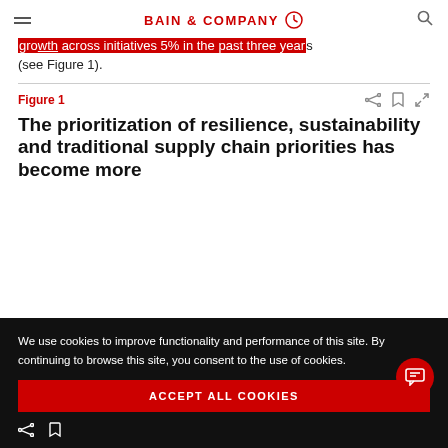BAIN & COMPANY
growth across initiatives 5% in the past three years (see Figure 1).
Figure 1
The prioritization of resilience, sustainability and traditional supply chain priorities has become more
We use cookies to improve functionality and performance of this site. By continuing to browse this site, you consent to the use of cookies.
ACCEPT ALL COOKIES